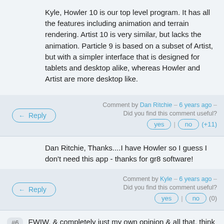Kyle, Howler 10 is our top level program. It has all the features including animation and terrain rendering. Artist 10 is very similar, but lacks the animation. Particle 9 is based on a subset of Artist, but with a simpler interface that is designed for tablets and desktop alike, whereas Howler and Artist are more desktop like.
Comment by Dan Ritchie – 6 years ago – Did you find this comment useful?
Reply | yes | no | (+11)
Dan Ritchie, Thanks....I have Howler so I guess I don't need this app - thanks for gr8 software!
Comment by Kyle – 6 years ago – Did you find this comment useful?
Reply | yes | no | (0)
#6 FWIW, & completely just my own opinion & all that, think Particle 9 might benefit from the new Microsoft to...[kinds]...treating it into experience already to b...